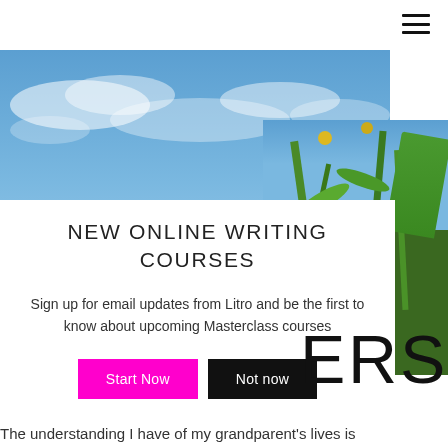[Figure (photo): Blue sky background photo (left card)]
[Figure (photo): Close-up photo of green plants with yellow flowers against blue sky (right card)]
NEW ONLINE WRITING COURSES
Sign up for email updates from Litro and be the first to know about upcoming Masterclass courses
Start Now
Not now
ERS
The understanding I have of my grandparent's lives is